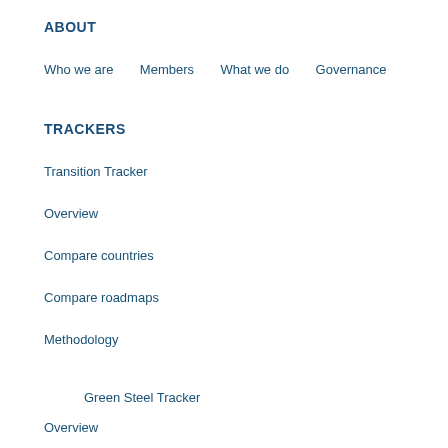ABOUT
Who we are
Members
What we do
Governance
TRACKERS
Transition Tracker
Overview
Compare countries
Compare roadmaps
Methodology
Green Steel Tracker
Overview
Methodology